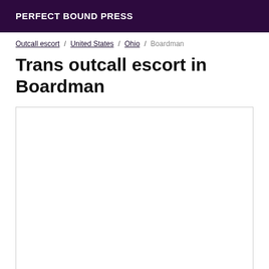PERFECT BOUND PRESS
Outcall escort / United States / Ohio / Boardman
Trans outcall escort in Boardman
[Figure (other): Empty white content box with border]